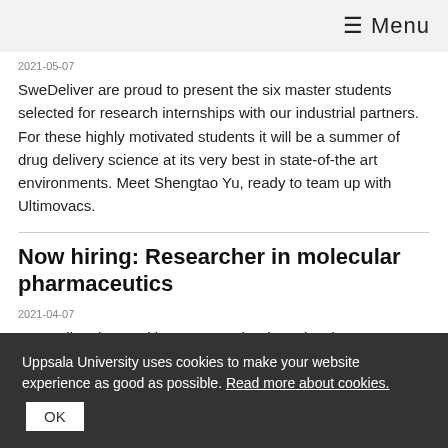≡ Menu
2021-05-07
SweDeliver are proud to present the six master students selected for research internships with our industrial partners. For these highly motivated students it will be a summer of drug delivery science at its very best in state-of-the art environments. Meet Shengtao Yu, ready to team up with Ultimovacs.
Now hiring: Researcher in molecular pharmaceutics
2021-04-07
SweDeliver is recruiting a researcher in molecular
Uppsala University uses cookies to make your website experience as good as possible. Read more about cookies.